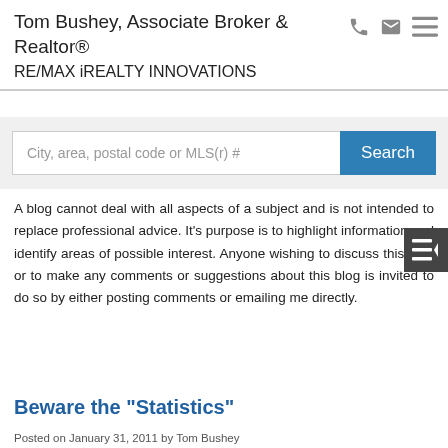Tom Bushey, Associate Broker & Realtor® RE/MAX iREALTY INNOVATIONS
A blog cannot deal with all aspects of a subject and is not intended to replace professional advice. It's purpose is to highlight information and identify areas of possible interest. Anyone wishing to discuss this blog or to make any comments or suggestions about this blog is invited to do so by either posting comments or emailing me directly.
Beware the "Statistics"
Posted on January 31, 2011 by Tom Bushey